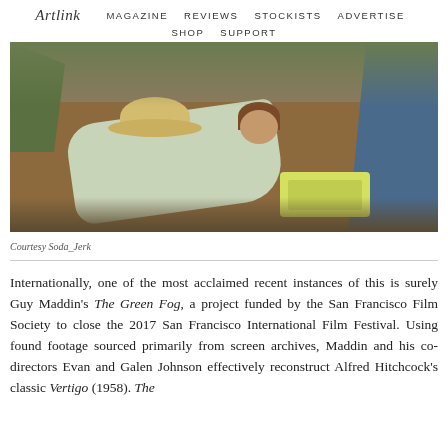Artlink   MAGAZINE   REVIEWS   STOCKISTS   ADVERTISE   SHOP   SUPPORT
[Figure (photo): A woman in a light grey-green dress lying on the ground outdoors, holding a yellow straw hat. Another person in blue is visible at right. A yellow plastic tray or container sits on the ground beside them. Green grass is visible at left.]
Courtesy Soda_Jerk
Internationally, one of the most acclaimed recent instances of this is surely Guy Maddin's The Green Fog, a project funded by the San Francisco Film Society to close the 2017 San Francisco International Film Festival. Using found footage sourced primarily from screen archives, Maddin and his co-directors Evan and Galen Johnson effectively reconstruct Alfred Hitchcock's classic Vertigo (1958). The